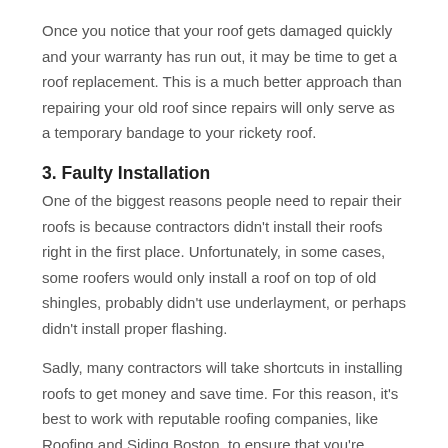Once you notice that your roof gets damaged quickly and your warranty has run out, it may be time to get a roof replacement. This is a much better approach than repairing your old roof since repairs will only serve as a temporary bandage to your rickety roof.
3. Faulty Installation
One of the biggest reasons people need to repair their roofs is because contractors didn't install their roofs right in the first place. Unfortunately, in some cases, some roofers would only install a roof on top of old shingles, probably didn't use underlayment, or perhaps didn't install proper flashing.
Sadly, many contractors will take shortcuts in installing roofs to get money and save time. For this reason, it's best to work with reputable roofing companies, like Roofing and Siding Boston, to ensure that you're getting the bang for your buck and so you can sleep peacefully at night knowing your roof was